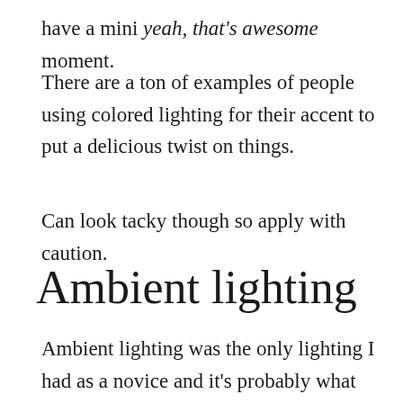have a mini yeah, that's awesome moment.
There are a ton of examples of people using colored lighting for their accent to put a delicious twist on things.
Can look tacky though so apply with caution.
Ambient lighting
Ambient lighting was the only lighting I had as a novice and it's probably what you have at the